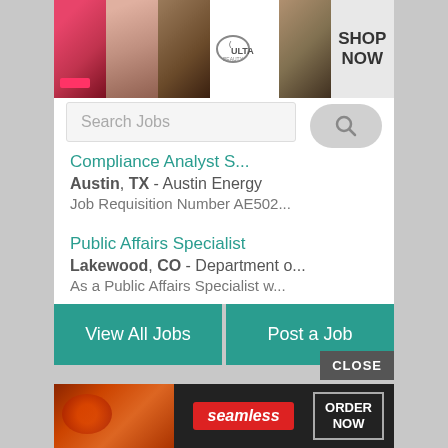[Figure (screenshot): ULTA beauty advertisement banner with makeup photos (lips, brush, eye), ULTA logo, and SHOP NOW text]
Search Jobs
Compliance Analyst S... - Austin, TX - Austin Energy - Job Requisition Number AE502...
Public Affairs Specialist - Lakewood, CO - Department o... - As a Public Affairs Specialist w...
View All Jobs
Post a Job
CLOSE
[Figure (screenshot): Seamless food ordering advertisement banner with pizza photo, seamless logo, and ORDER NOW button]